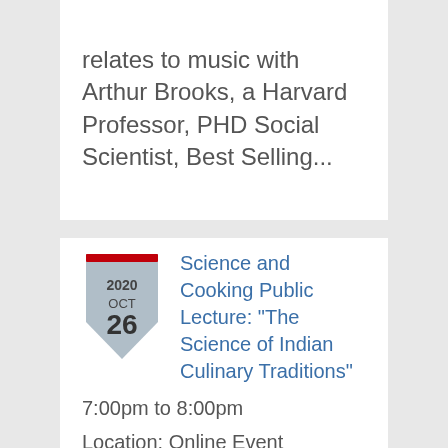relates to music with Arthur Brooks, a Harvard Professor, PHD Social Scientist, Best Selling...
Science and Cooking Public Lecture: "The Science of Indian Culinary Traditions"
7:00pm to 8:00pm
Location: Online Event
The lectures pair Harvard professors with celebrated food experts and renowned chefs to showcase the science behind